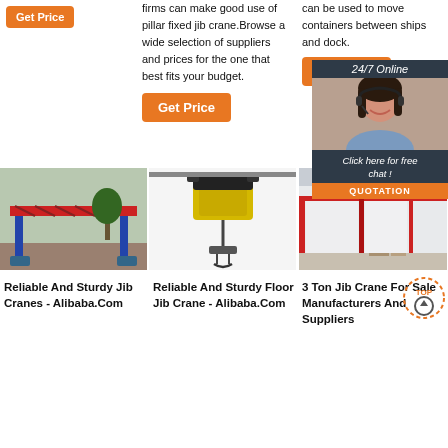firms can make good use of pillar fixed jib crane.Browse a wide selection of suppliers and prices for the one that best fits your budget.
can be used to move containers between ships and dock.
[Figure (other): Orange 'Get Price' button]
[Figure (other): Orange 'Get Price' button]
[Figure (other): 24/7 Online chat box with customer service representative, 'Click here for free chat!' and QUOTATION button]
[Figure (photo): Red and blue jib crane structure on construction site]
[Figure (photo): Yellow and black floor jib crane / electric hoist]
[Figure (photo): Industrial warehouse interior with crane rails]
Reliable And Sturdy Jib Cranes - Alibaba.Com
Reliable And Sturdy Floor Jib Crane - Alibaba.Com
3 Ton Jib Crane For Sale Manufacturers And Suppliers